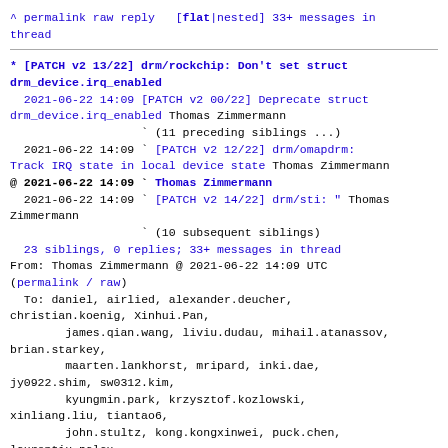^ permalink raw reply   [flat|nested] 33+ messages in thread
* [PATCH v2 13/22] drm/rockchip: Don't set struct drm_device.irq_enabled
  2021-06-22 14:09 [PATCH v2 00/22] Deprecate struct drm_device.irq_enabled Thomas Zimmermann
                   ` (11 preceding siblings ...)
  2021-06-22 14:09 ` [PATCH v2 12/22] drm/omapdrm: Track IRQ state in local device state Thomas Zimmermann
@ 2021-06-22 14:09 ` Thomas Zimmermann
  2021-06-22 14:09 ` [PATCH v2 14/22] drm/sti: " Thomas Zimmermann
                   ` (10 subsequent siblings)
  23 siblings, 0 replies; 33+ messages in thread
From: Thomas Zimmermann @ 2021-06-22 14:09 UTC
(permalink / raw)
  To: daniel, airlied, alexander.deucher,
christian.koenig, Xinhui.Pan,
        james.qian.wang, liviu.dudau, mihail.atanassov,
brian.starkey,
        maarten.lankhorst, mripard, inki.dae,
jy0922.shim, sw0312.kim,
        kyungmin.park, krzysztof.kozlowski,
xinliang.liu, tiantao6,
        john.stultz, kong.kongxinwei, puck.chen,
laurentiu.palcu,
        l.stach, p.zabel, shawnguo, s.hauer, kernel,
fastcvam, linux.imx,